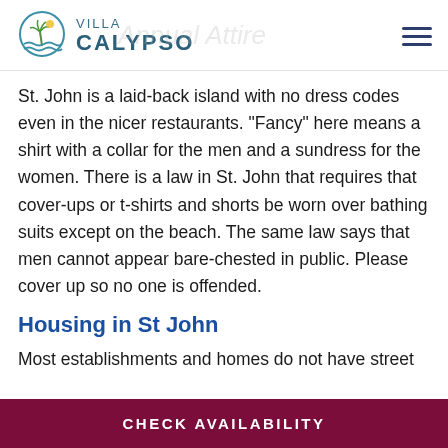VILLA CALYPSO
St. John is a laid-back island with no dress codes even in the nicer restaurants. “Fancy” here means a shirt with a collar for the men and a sundress for the women. There is a law in St. John that requires that cover-ups or t-shirts and shorts be worn over bathing suits except on the beach. The same law says that men cannot appear bare-chested in public. Please cover up so no one is offended.
Housing in St John
Most establishments and homes do not have street
CHECK AVAILABILITY